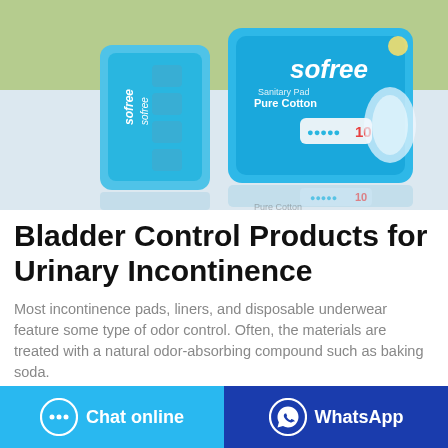[Figure (photo): Two Sofree brand incontinence/sanitary pads in blue packaging displayed on a reflective surface with a green and white background. The larger package is labeled 'Sofree Pure Cotton' with '10' count.]
Bladder Control Products for Urinary Incontinence
Most incontinence pads, liners, and disposable underwear feature some type of odor control. Often, the materials are treated with a natural odor-absorbing compound such as baking soda.
Chat online
WhatsApp